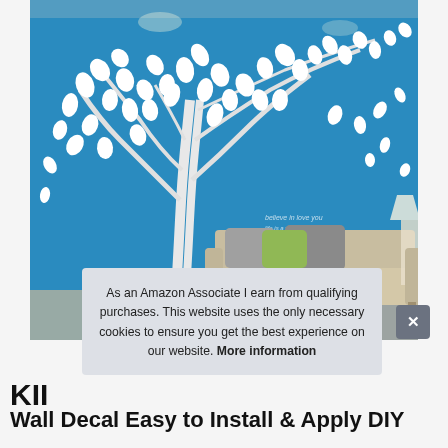[Figure (photo): A large blue wall with a white 3D tree wall decal featuring leaves and birds. A beige sofa with decorative pillows (black/white patterned and green) sits in front of the wall in a living room setting.]
As an Amazon Associate I earn from qualifying purchases. This website uses the only necessary cookies to ensure you get the best experience on our website. More information
KII
Wall Decal Easy to Install & Apply DIY